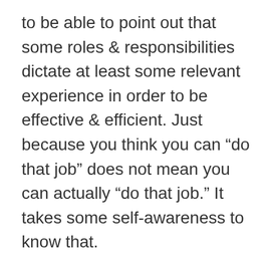to be able to point out that some roles & responsibilities dictate at least some relevant experience in order to be effective & efficient. Just because you think you can “do that job” does not mean you can actually “do that job.” It takes some self-awareness to know that.
The lack of self-awareness has a ripple effect.
In a bar your lack of self-awareness can create a range of responses – some chuckles, out right laughter of disbelief